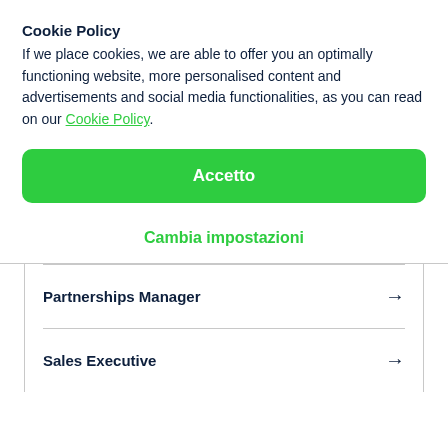Cookie Policy
If we place cookies, we are able to offer you an optimally functioning website, more personalised content and advertisements and social media functionalities, as you can read on our Cookie Policy.
Accetto
Cambia impostazioni
Partnerships Manager →
Sales Executive →